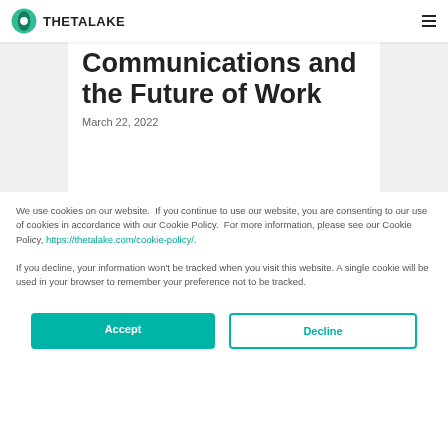THETALAKE
Communications and the Future of Work
March 22, 2022
We use cookies on our website.  If you continue to use our website, you are consenting to our use of cookies in accordance with our Cookie Policy.  For more information, please see our Cookie Policy, https://thetalake.com/cookie-policy/.
If you decline, your information won’t be tracked when you visit this website. A single cookie will be used in your browser to remember your preference not to be tracked.